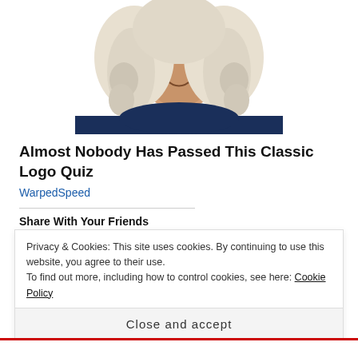[Figure (illustration): Illustration of a man in a colonial-era dark navy coat with a white ruffled cravat and a white powdered wig, shown from the chest up, smiling.]
Almost Nobody Has Passed This Classic Logo Quiz
WarpedSpeed
Share With Your Friends
[Figure (infographic): Share buttons: Facebook (blue circle), Twitter (blue circle), Email (grey circle), Print (grey circle), and a More button]
Privacy & Cookies: This site uses cookies. By continuing to use this website, you agree to their use.
To find out more, including how to control cookies, see here: Cookie Policy
Close and accept